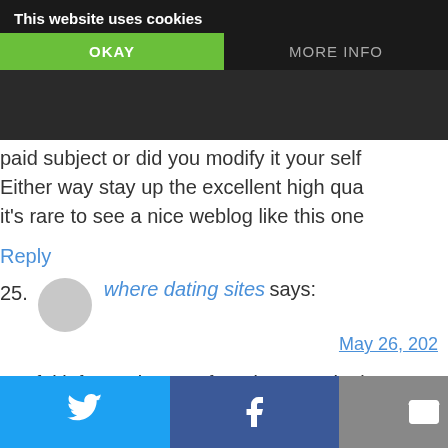This website uses cookies | OKAY | MORE INFO
paid subject or did you modify it yourself? Either way stay up the excellent high quality, it's rare to see a nice weblog like this one
Reply
25. where dating sites says: May 26, 202
Useful info. Lucky me I found your web si unintentionally, and I'm stunned why this twist of fate didn't to advance!

I bookmarked it.
Subtot
Shipp